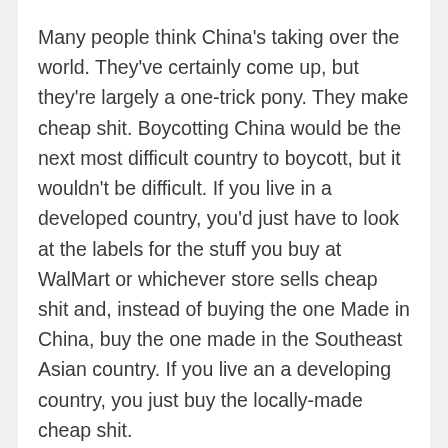Many people think China's taking over the world. They've certainly come up, but they're largely a one-trick pony. They make cheap shit. Boycotting China would be the next most difficult country to boycott, but it wouldn't be difficult. If you live in a developed country, you'd just have to look at the labels for the stuff you buy at WalMart or whichever store sells cheap shit and, instead of buying the one Made in China, buy the one made in the Southeast Asian country. If you live an a developing country, you just buy the locally-made cheap shit.
Not until China can move past making cheap shit and being the world's factory floor will they be